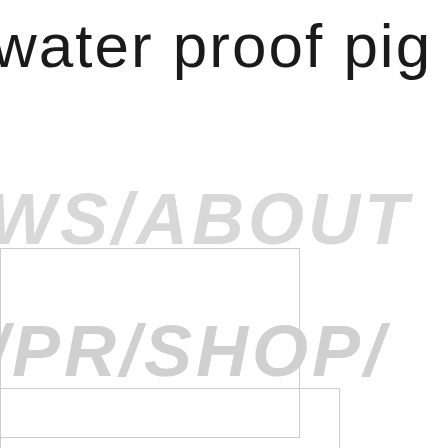water proof pig j
[Figure (screenshot): Large italic light gray navigation text reading 'WS/ABOUT' and '/PR/SHOP/' overlaid on white background, with rectangular outline boxes and a gray filled rectangle in the lower right area]
WS/ABOUT
/PR/SHOP/